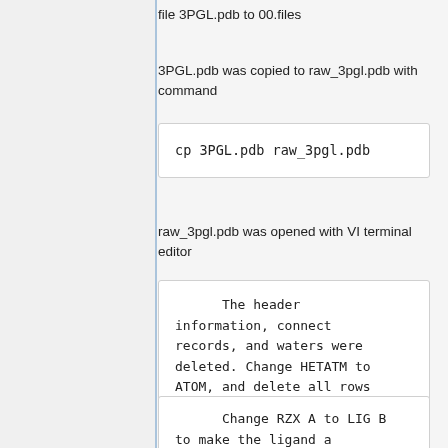file 3PGL.pdb to 00.files
3PGL.pdb was copied to raw_3pgl.pdb with command
cp 3PGL.pdb raw_3pgl.pdb
raw_3pgl.pdb was opened with VI terminal editor
The header information, connect records, and waters were deleted. Change HETATM to ATOM, and delete all rows that have B in the fifth column
Change RZX A to LIG B to make the ligand a different chain